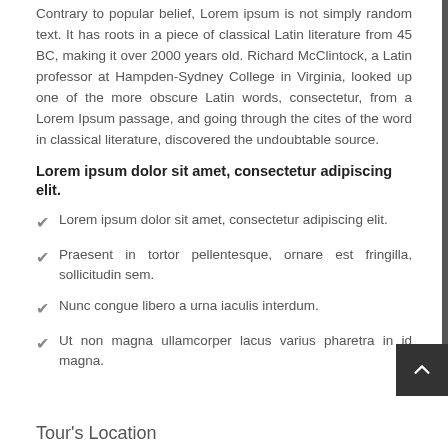Contrary to popular belief, Lorem ipsum is not simply random text. It has roots in a piece of classical Latin literature from 45 BC, making it over 2000 years old. Richard McClintock, a Latin professor at Hampden-Sydney College in Virginia, looked up one of the more obscure Latin words, consectetur, from a Lorem Ipsum passage, and going through the cites of the word in classical literature, discovered the undoubtable source.
Lorem ipsum dolor sit amet, consectetur adipiscing elit.
Lorem ipsum dolor sit amet, consectetur adipiscing elit.
Praesent in tortor pellentesque, ornare est fringilla, sollicitudin sem.
Nunc congue libero a urna iaculis interdum.
Ut non magna ullamcorper lacus varius pharetra in id magna.
Tour's Location